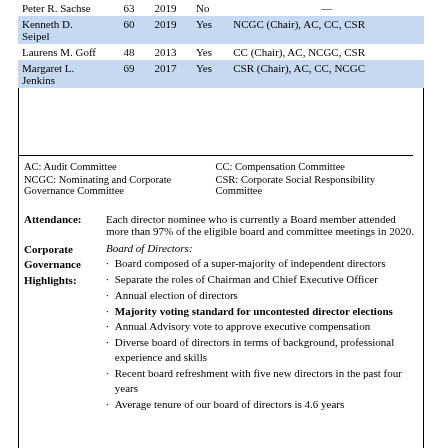| Name | Age | Year | Independent | Committee Memberships |
| --- | --- | --- | --- | --- |
| Peter R. Sachse | 63 | 2019 | No | — |
| Kenneth D. Seipel | 60 | 2019 | Yes | NCGC (Chair), AC, CC, CSR |
| Laurens M. Goff | 48 | 2013 | Yes | CC (Chair), AC, NCGC, CSR |
| Margaret L. Jenkins | 69 | 2017 | Yes | CSR (Chair), AC, CC, NCGC |
AC: Audit Committee   CC: Compensation Committee
NCGC: Nominating and Corporate Governance Committee   CSR: Corporate Social Responsibility Committee
Attendance: Each director nominee who is currently a Board member attended more than 97% of the eligible board and committee meetings in 2020.
Corporate Governance Highlights: Board of Directors:
Board composed of a super-majority of independent directors
Separate the roles of Chairman and Chief Executive Officer
Annual election of directors
Majority voting standard for uncontested director elections
Annual Advisory vote to approve executive compensation
Diverse board of directors in terms of background, professional experience and skills
Recent board refreshment with five new directors in the past four years
Average tenure of our board of directors is 4.6 years